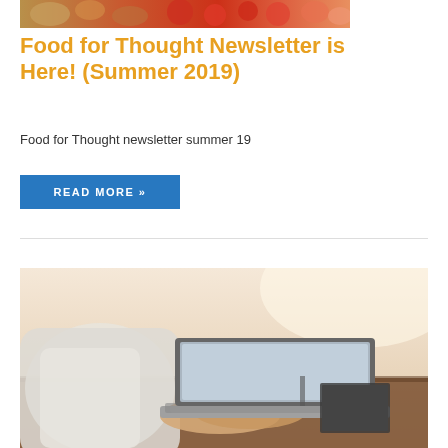[Figure (photo): Food items including bread, vegetables, and tomatoes]
Food for Thought Newsletter is Here! (Summer 2019)
Food for Thought newsletter summer 19
READ MORE »
[Figure (photo): Person typing on a laptop at a desk]